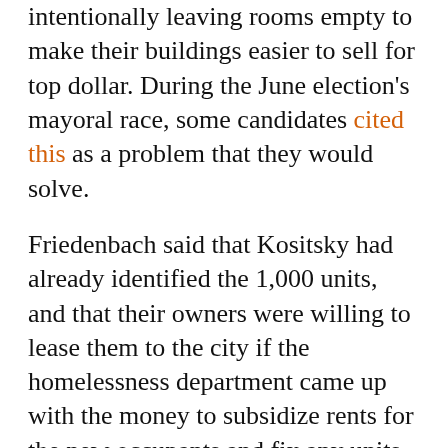intentionally leaving rooms empty to make their buildings easier to sell for top dollar. During the June election's mayoral race, some candidates cited this as a problem that they would solve.
Friedenbach said that Kositsky had already identified the 1,000 units, and that their owners were willing to lease them to the city if the homelessness department came up with the money to subsidize rents for the new occupants and fix any units in disrepair.
Kositsky said the number of units ready for acquisition was lower.
“I don’t think it’s 1,000, but I don’t know for sure,” he said. “I’m aware of at least 300 units.”